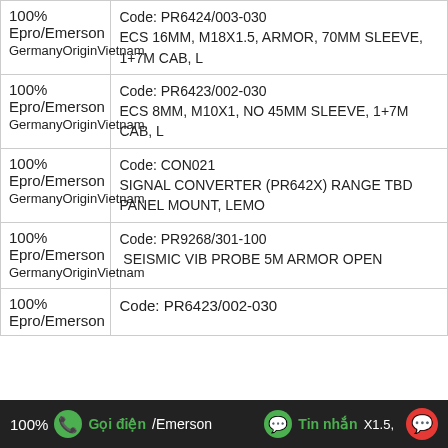|  | Brand/Origin | Description |
| --- | --- | --- |
| 100%
GermanyOriginVietnam | Epro/Emerson | Code: PR6424/003-030
ECS 16MM, M18X1.5, ARMOR, 70MM SLEEVE, 1+7M CAB, L |
| 100%
GermanyOriginVietnam | Epro/Emerson | Code: PR6423/002-030
ECS 8MM, M10X1, NO 45MM SLEEVE, 1+7M CAB, L |
| 100%
GermanyOriginVietnam | Epro/Emerson | Code: CON021
SIGNAL CONVERTER (PR642X) RANGE TBD PANEL MOUNT, LEMO |
| 100%
GermanyOriginVietnam | Epro/Emerson | Code: PR9268/301-100
SEISMIC VIB PROBE 5M ARMOR OPEN |
| 100% | Epro/Emerson | Code: PR6423/002-030
... |
100% Gọi điện /Emerson | Tin nhắn